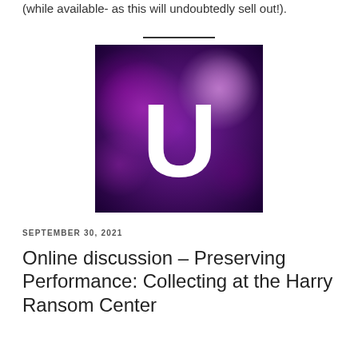(while available- as this will undoubtedly sell out!).
[Figure (logo): Purple bokeh background with a large white letter U in the center, representing a brand or organization logo.]
SEPTEMBER 30, 2021
Online discussion – Preserving Performance: Collecting at the Harry Ransom Center